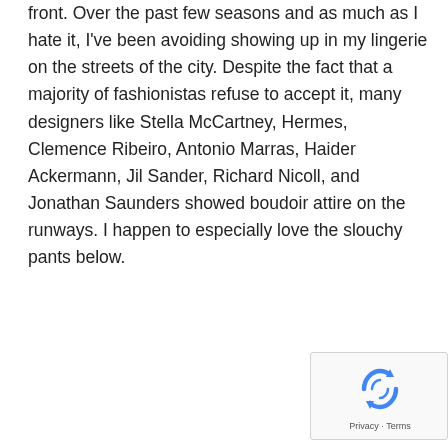front. Over the past few seasons and as much as I hate it, I've been avoiding showing up in my lingerie on the streets of the city. Despite the fact that a majority of fashionistas refuse to accept it, many designers like Stella McCartney, Hermes, Clemence Ribeiro, Antonio Marras, Haider Ackermann, Jil Sander, Richard Nicoll, and Jonathan Saunders showed boudoir attire on the runways. I happen to especially love the slouchy pants below.
[Figure (other): reCAPTCHA widget with recycling arrow logo and Privacy/Terms footer]